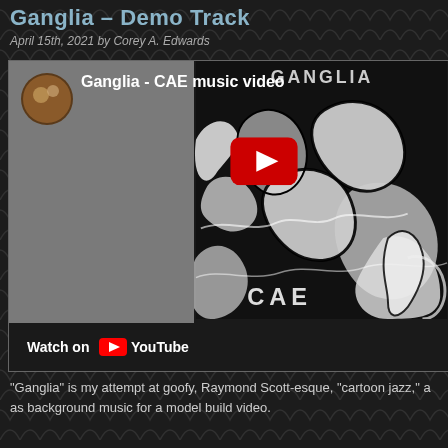Ganglia – Demo Track
April 15th, 2021 by Corey A. Edwards
[Figure (screenshot): Embedded YouTube video thumbnail showing 'Ganglia - CAE music video' with black and white organic artwork. Watch on YouTube button visible at bottom.]
“Ganglia” is my attempt at goofy, Raymond Scott-esque, “cartoon jazz,” ar as background music for a model build video.